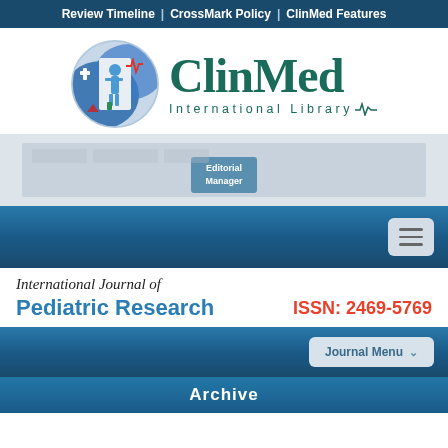Review Timeline | CrossMark Policy | ClinMed Features
[Figure (logo): ClinMed International Library logo with circular blue medical icon and stylized text]
[Figure (screenshot): Editorial Manager submission banner with blurred navigation tabs and button]
[Figure (other): Blue navigation bar with hamburger menu button]
International Journal of
Pediatric Research
ISSN: 2469-5769
[Figure (other): Dark blue journal navigation bar with Journal Menu dropdown button]
Archive